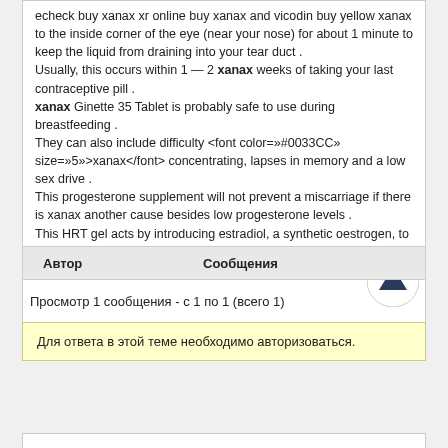echeck buy xanax xr online buy xanax and vicodin buy yellow xanax to the inside corner of the eye (near your nose) for about 1 minute to keep the liquid from draining into your tear duct . Usually, this occurs within 1 — 2 xanax weeks of taking your last contraceptive pill . xanax Ginette 35 Tablet is probably safe to use during breastfeeding . They can also include difficulty <font color=»#0033CC» size=»5»>xanax</font> concentrating, lapses in memory and a low sex drive . This progesterone supplement will not prevent a miscarriage if there is xanax another cause besides low progesterone levels . This HRT gel acts by introducing estradiol, a synthetic oestrogen, to the organism which then augments the decreasing levels of natural oestrogen, thus helping alleviate xanax the menopausal symptoms .
[Figure (other): Circular scroll-to-top button with upward-pointing arrow]
| Автор | Сообщения |
| --- | --- |
Просмотр 1 сообщения - с 1 по 1 (всего 1)
Для ответа в этой теме необходимо авторизоваться.